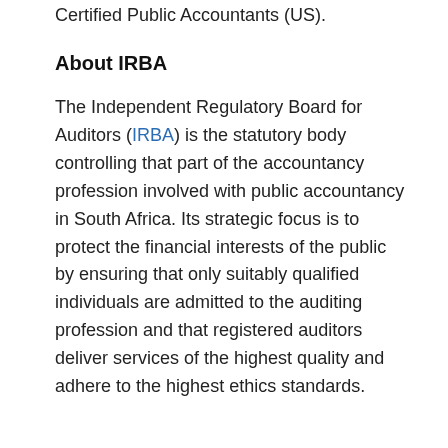Certified Public Accountants (US).
About IRBA
The Independent Regulatory Board for Auditors (IRBA) is the statutory body controlling that part of the accountancy profession involved with public accountancy in South Africa. Its strategic focus is to protect the financial interests of the public by ensuring that only suitably qualified individuals are admitted to the auditing profession and that registered auditors deliver services of the highest quality and adhere to the highest ethics standards.
About CPA Canada
Chartered Professional Accountants of Canada (CPA